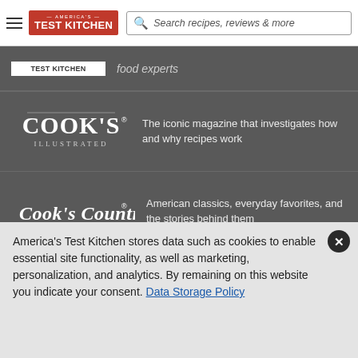America's Test Kitchen — Search recipes, reviews & more
food experts
[Figure (logo): Cook's Illustrated magazine logo in white on dark grey background]
The iconic magazine that investigates how and why recipes work
[Figure (logo): Cook's Country magazine logo in white on dark grey background]
American classics, everyday favorites, and the stories behind them
COOKING SCHOOL
Experts teach 320+ online courses for home cooks at every skill level
America's Test Kitchen stores data such as cookies to enable essential site functionality, as well as marketing, personalization, and analytics. By remaining on this website you indicate your consent. Data Storage Policy